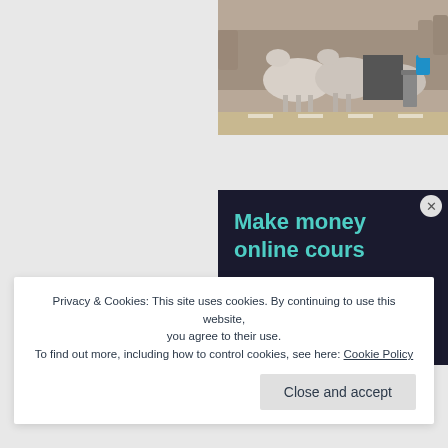[Figure (photo): Outdoor scene with white horses pulling a carriage on a street, people and crowd visible in background, sunny day]
[Figure (infographic): Dark navy advertisement panel with teal headline text 'Make money online cours...' and Sensei logo at bottom with circular tree icon]
Privacy & Cookies: This site uses cookies. By continuing to use this website, you agree to their use.
To find out more, including how to control cookies, see here: Cookie Policy
Close and accept